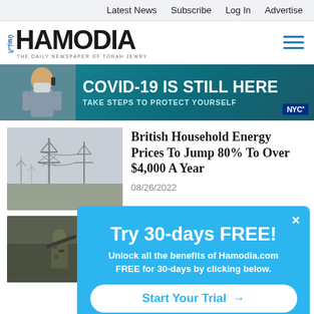Latest News  Subscribe  Log In  Advertise
[Figure (logo): Hamodia newspaper logo with Hebrew text and tagline THE DAILY NEWSPAPER OF TORAH JEWRY]
[Figure (infographic): COVID-19 IS STILL HERE banner ad with person wearing mask and NYC logo. Text: TAKE STEPS TO PROTECT YOURSELF]
British Household Energy Prices To Jump 80% To Over $4,000 A Year
08/26/2022
[Figure (photo): Electric power transmission towers and wind turbines in foggy/misty conditions]
[Figure (photo): Soldier in camouflage gear with rifle in field]
[Figure (infographic): Popup overlay: Try 30-days FREE! Unlock all the benefits of Hamodia.com FREE for 30-days by clicking below. Button: Start Your Trial →]